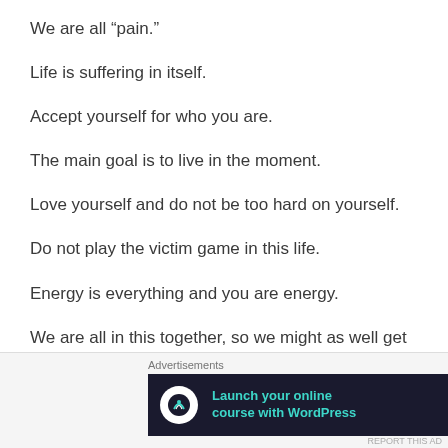We are all “pain.”
Life is suffering in itself.
Accept yourself for who you are.
The main goal is to live in the moment.
Love yourself and do not be too hard on yourself.
Do not play the victim game in this life.
Energy is everything and you are energy.
We are all in this together, so we might as well get along with one another.
Advertisements
[Figure (other): Advertisement banner: Launch your online course with WordPress — Learn More]